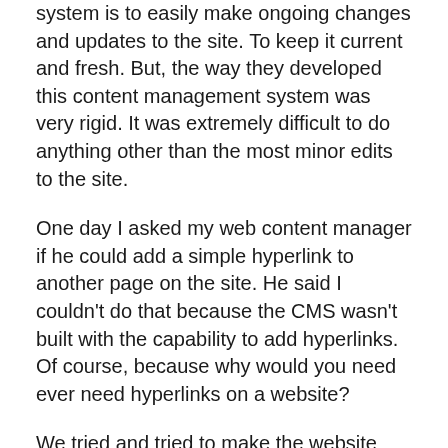system is to easily make ongoing changes and updates to the site. To keep it current and fresh.  But, the way they developed this content management system was very rigid. It was extremely difficult to do anything other than the most minor edits to the site.
One day I asked my web content manager if he could add a simple hyperlink to another page on the site. He said I couldn't do that because the CMS wasn't built with the capability to add hyperlinks.  Of course, because why would you need ever need hyperlinks on a website?
We tried and tried to make the website work. But, we just weren't making progress fast enough. I could see us spending months of work and tons of money trying to get this thing right.
I realized that I had bought a lemon. No matter how many